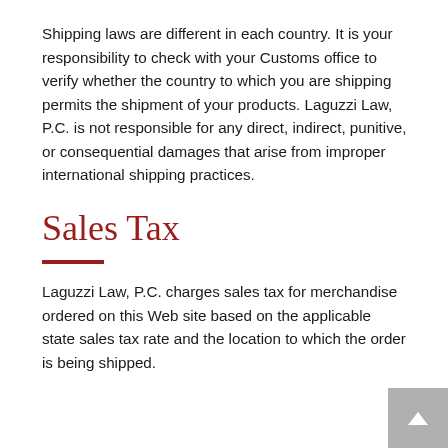Shipping laws are different in each country. It is your responsibility to check with your Customs office to verify whether the country to which you are shipping permits the shipment of your products. Laguzzi Law, P.C. is not responsible for any direct, indirect, punitive, or consequential damages that arise from improper international shipping practices.
Sales Tax
Laguzzi Law, P.C. charges sales tax for merchandise ordered on this Web site based on the applicable state sales tax rate and the location to which the order is being shipped.